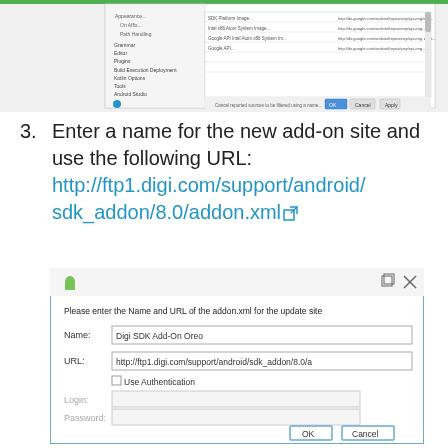[Figure (screenshot): Android Studio SDK Manager window showing list of SDK packages with URLs]
3. Enter a name for the new add-on site and use the following URL: http://ftp1.digi.com/support/android/sdk_addon/8.0/addon.xml
[Figure (screenshot): Dialog box: 'Please enter the Name and URL of the addon.xml for the update site'. Name field shows 'Digi SDK Add-On Oreo', URL field shows 'http://ftp1.digi.com/support/android/sdk_addon/8.0/a', Use Authentication checkbox, Login and Password fields, OK and Cancel buttons.]